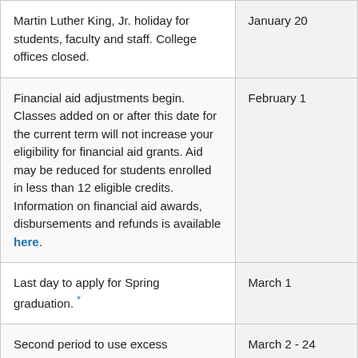| Event | Date |
| --- | --- |
| Martin Luther King, Jr. holiday for students, faculty and staff. College offices closed. | January 20 |
| Financial aid adjustments begin. Classes added on or after this date for the current term will not increase your eligibility for financial aid grants. Aid may be reduced for students enrolled in less than 12 eligible credits. Information on financial aid awards, disbursements and refunds is available here. | February 1 |
| Last day to apply for Spring graduation. * | March 1 |
| Second period to use excess (undisbursed) financial aid at the Bookstore. | March 2 - 24 |
| Spring Break for teaching faculty and | March 9 - 15 |